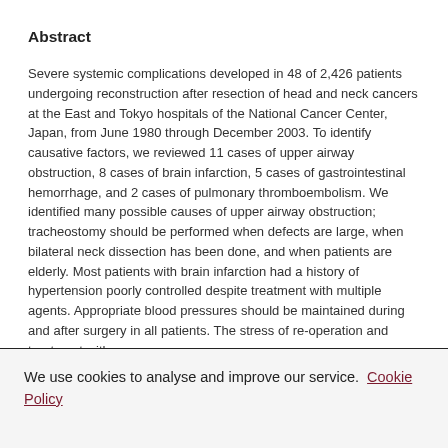Abstract
Severe systemic complications developed in 48 of 2,426 patients undergoing reconstruction after resection of head and neck cancers at the East and Tokyo hospitals of the National Cancer Center, Japan, from June 1980 through December 2003. To identify causative factors, we reviewed 11 cases of upper airway obstruction, 8 cases of brain infarction, 5 cases of gastrointestinal hemorrhage, and 2 cases of pulmonary thromboembolism. We identified many possible causes of upper airway obstruction; tracheostomy should be performed when defects are large, when bilateral neck dissection has been done, and when patients are elderly. Most patients with brain infarction had a history of hypertension poorly controlled despite treatment with multiple agents. Appropriate blood pressures should be maintained during and after surgery in all patients. The stress of re-operation and treatment with
We use cookies to analyse and improve our service. Cookie Policy